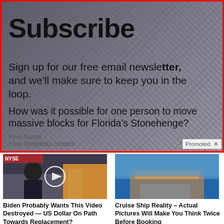Subscribe
Sign up for our free email newsletter, and we'll make sure to keep you in the loop.
How was it possible for one person to move massive blocks for Florida's Stonehenge?
First Name
Free Wikipedia content
Promoted
[Figure (photo): Video thumbnail showing a person on a TV set, NYSE background, with play button overlay]
Biden Probably Wants This Video Destroyed — US Dollar On Path Towards Replacement?
🔥 121,157
[Figure (photo): Aerial photo of a cruise ship dock or pier with blue water]
Cruise Ship Reality – Actual Pictures Will Make You Think Twice Before Booking
🔥 12,993